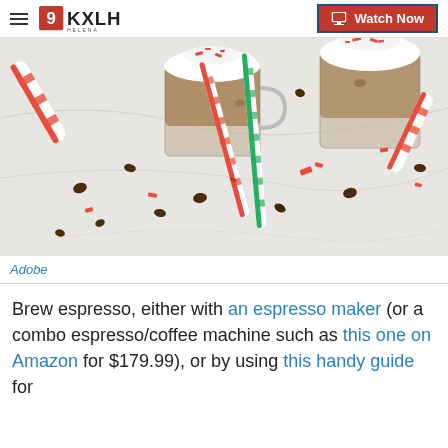KXLH Watch Now
[Figure (photo): Overhead view of two glass mugs of espresso drinks topped with whipped cream and crushed peppermint candy canes, surrounded by red and white striped candy canes, coffee beans, and green and red striped paper straws on a white marble surface.]
Adobe
Brew espresso, either with an espresso maker (or a combo espresso/coffee machine such as this one on Amazon for $179.99), or by using this handy guide for